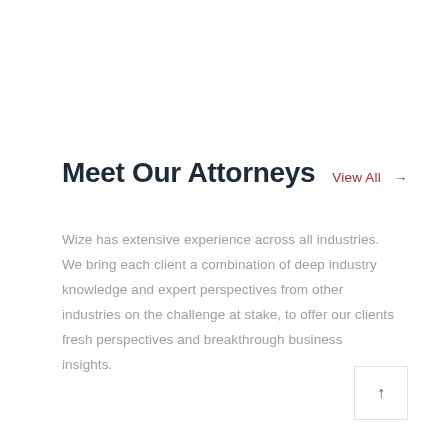Meet Our Attorneys
View All →
Wize has extensive experience across all industries. We bring each client a combination of deep industry knowledge and expert perspectives from other industries on the challenge at stake, to offer our clients fresh perspectives and breakthrough business insights.